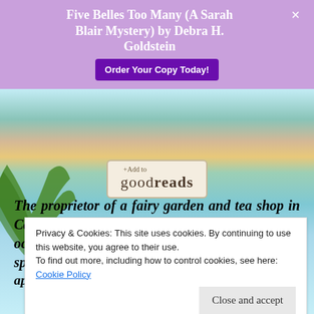Five Belles Too Many (A Sarah Blair Mystery) by Debra H. Goldstein
[Figure (other): Order Your Copy Today! purple button]
[Figure (other): + Add to goodreads button with tan background]
The proprietor of a fairy garden and tea shop in Carmel-by-the-Sea, Courtney Kelly has an occasional side gig as a sleuth—with a sprinkling of magical assistance....
Privacy & Cookies: This site uses cookies. By continuing to use this website, you agree to their use.
To find out more, including how to control cookies, see here:
Cookie Policy
Close and accept
appealing, a famous actress, Farrah Lawson, is